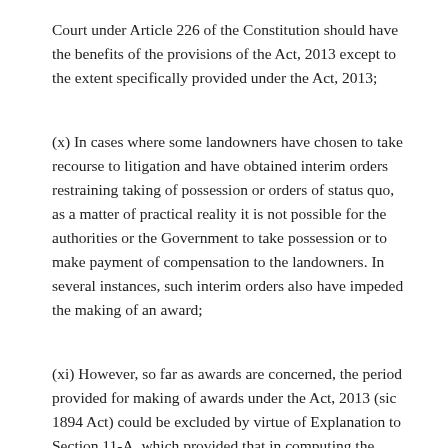Court under Article 226 of the Constitution should have the benefits of the provisions of the Act, 2013 except to the extent specifically provided under the Act, 2013;
(x) In cases where some landowners have chosen to take recourse to litigation and have obtained interim orders restraining taking of possession or orders of status quo, as a matter of practical reality it is not possible for the authorities or the Government to take possession or to make payment of compensation to the landowners. In several instances, such interim orders also have impeded the making of an award;
(xi) However, so far as awards are concerned, the period provided for making of awards under the Act, 2013 (sic 1894 Act) could be excluded by virtue of Explanation to Section 11-A, which provided that in computing the period